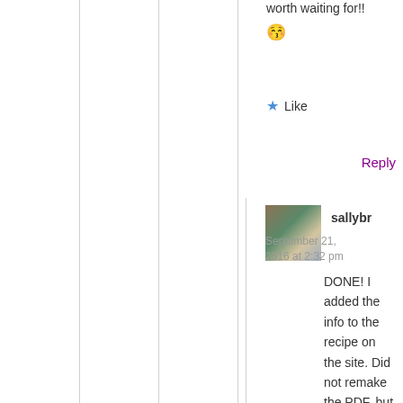worth waiting for!! 😚
★ Like
Reply
sallybr
September 21, 2016 at 2:32 pm
DONE! I added the info to the recipe on the site. Did not remake the PDF, but maybe that can get you